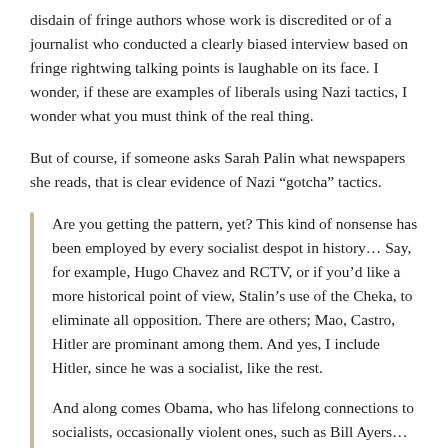disdain of fringe authors whose work is discredited or of a journalist who conducted a clearly biased interview based on fringe rightwing talking points is laughable on its face. I wonder, if these are examples of liberals using Nazi tactics, I wonder what you must think of the real thing.
But of course, if someone asks Sarah Palin what newspapers she reads, that is clear evidence of Nazi “gotcha” tactics.
Are you getting the pattern, yet? This kind of nonsense has been employed by every socialist despot in history… Say, for example, Hugo Chavez and RCTV, or if you’d like a more historical point of view, Stalin’s use of the Cheka, to eliminate all opposition. There are others; Mao, Castro, Hitler are prominant among them. And yes, I include Hitler, since he was a socialist, like the rest.
And along comes Obama, who has lifelong connections to socialists, occasionally violent ones, such as Bill Ayers… and we’re to expect anything less of him?